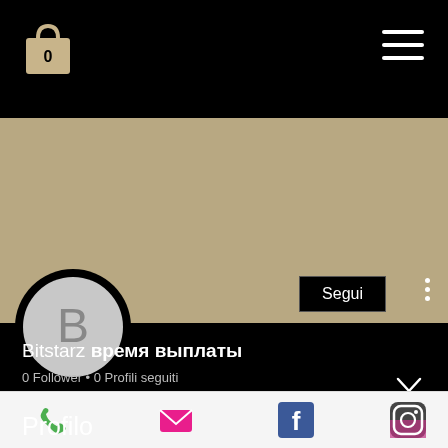[Figure (screenshot): Mobile app profile page screenshot showing navigation bar with shopping bag (0) and hamburger menu icons on black background]
Bitstarz время выплаты
0 Follower • 0 Profili seguiti
Profilo